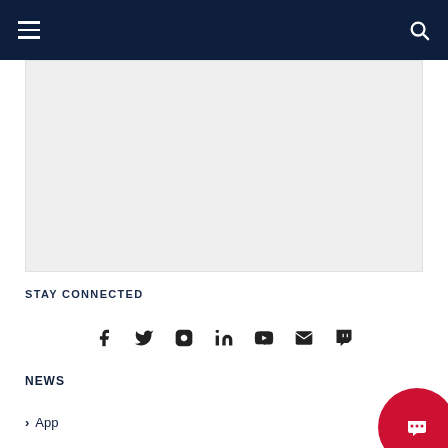Navigation bar with hamburger menu and search icon
[Figure (other): Gray placeholder content area rectangle]
STAY CONNECTED
[Figure (infographic): Social media icons row: Facebook, Twitter, Instagram, LinkedIn, YouTube, Email, Twitch]
NEWS
App
[Figure (other): Red circular chat button in bottom right corner]